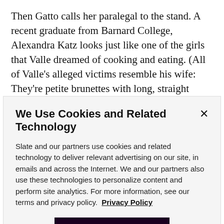Then Gatto calls her paralegal to the stand. A recent graduate from Barnard College, Alexandra Katz looks just like one of the girls that Valle dreamed of cooking and eating. (All of Valle's alleged victims resemble his wife: They're petite brunettes with long, straight hair.) To help with the defense, Katz created an account on DarkFetishNet.  She visited the site "50 to 100 times," she says, and now she's testifying as to how the site
We Use Cookies and Related Technology
Slate and our partners use cookies and related technology to deliver relevant advertising on our site, in emails and across the Internet. We and our partners also use these technologies to personalize content and perform site analytics. For more information, see our terms and privacy policy.  Privacy Policy